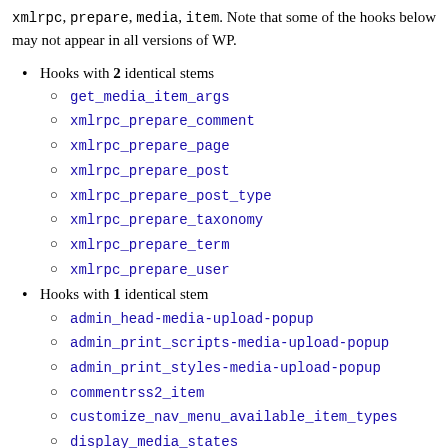xmlrpc, prepare, media, item. Note that some of the hooks below may not appear in all versions of WP.
Hooks with 2 identical stems
get_media_item_args
xmlrpc_prepare_comment
xmlrpc_prepare_page
xmlrpc_prepare_post
xmlrpc_prepare_post_type
xmlrpc_prepare_taxonomy
xmlrpc_prepare_term
xmlrpc_prepare_user
Hooks with 1 identical stem
admin_head-media-upload-popup
admin_print_scripts-media-upload-popup
admin_print_styles-media-upload-popup
commentrss2_item
customize_nav_menu_available_item_types
display_media_states
enable_press_this_media_discovery
get_attached_media
get_attached_media_args
manage_media_columns
manage_media_custom_column
manage_media_media_column